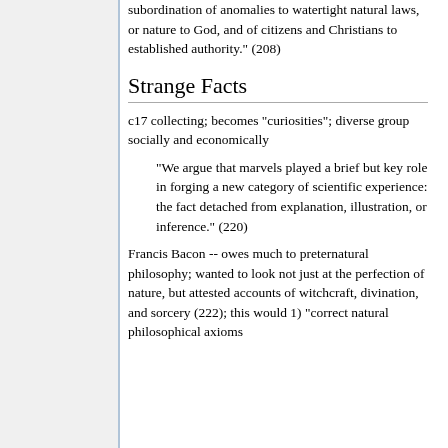subordination of anomalies to watertight natural laws, or nature to God, and of citizens and Christians to established authority." (208)
Strange Facts
c17 collecting; becomes "curiosities"; diverse group socially and economically
"We argue that marvels played a brief but key role in forging a new category of scientific experience: the fact detached from explanation, illustration, or inference." (220)
Francis Bacon -- owes much to preternatural philosophy; wanted to look not just at the perfection of nature, but attested accounts of witchcraft, divination, and sorcery (222); this would 1) "correct natural philosophical axioms